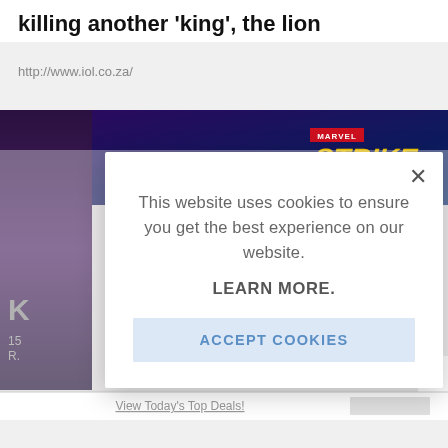killing another ‘king’, the lion
http://www.iol.co.za/
[Figure (screenshot): Screenshot of a webpage showing a Marvel Strike Force game advertisement banner and partial page content beneath a cookie consent modal overlay.]
This website uses cookies to ensure you get the best experience on our website.

LEARN MORE.

ACCEPT COOKIES
View Today’s Top Deals!